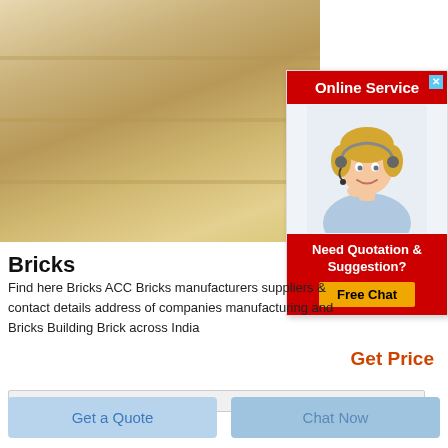[Figure (photo): Close-up photo of stacked light beige/cream colored bricks or stone blocks]
[Figure (infographic): Online Service advertisement panel with red header, customer service representative with headset, and red footer with 'Need Quotation & Suggestion?' text and yellow 'Free Chat' button]
Bricks
Find here Bricks ACC Bricks manufacturers suppliers & contact details address of companies manufacturing and Bricks Building Brick across India
Get Price
Get a Quote
Chat Now